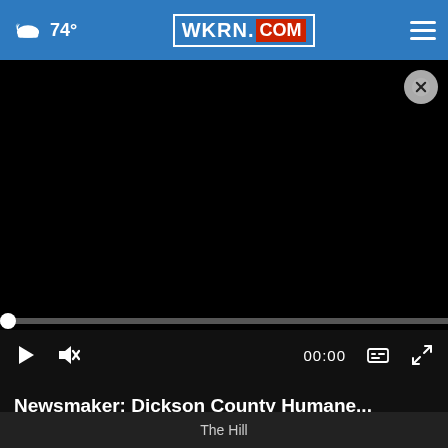74° WKRN.COM
[Figure (screenshot): Black video player area with close (X) button at top right, progress bar near bottom, and playback controls including play button, mute button, time display 00:00, captions button, and fullscreen button.]
Newsmaker: Dickson County Humane...
The Hill